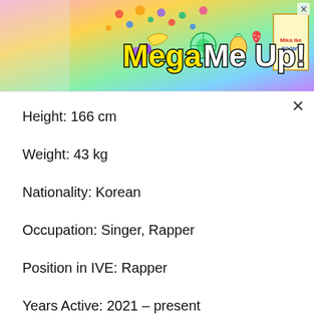[Figure (illustration): Colorful advertisement banner reading 'Mega Me Up!' with fruits, candies, and a product box on a vibrant multicolored background. A person is visible on the left side.]
Height: 166 cm
Weight: 43 kg
Nationality: Korean
Occupation: Singer, Rapper
Position in IVE: Rapper
Years Active: 2021 – present
Label: Starship Entertainment (present)